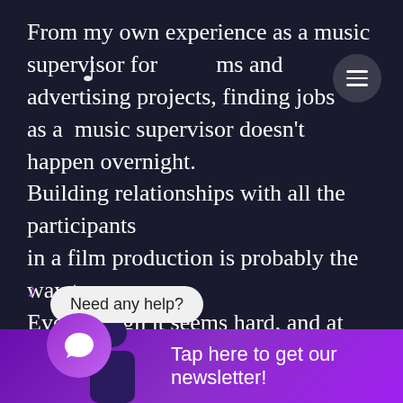From my own experience as a music supervisor for films and advertising projects, finding jobs as a music supervisor doesn't happen overnight. Building relationships with all the participants in a film production is probably the way to go. Even though it seems hard, and at first, doesn't involve much music. Go to awards shows, take music supervisors out for coffee, show your talents, and make playlists. All in all, there is a lot of research and networking involved to get into this job. I am sure, the Guild of Music [Supervisors in t]he US as well in the UK and Europe are able to answer your questions if you [want t]o dive deeper.
Need any help?
Tap here to get our newsletter!